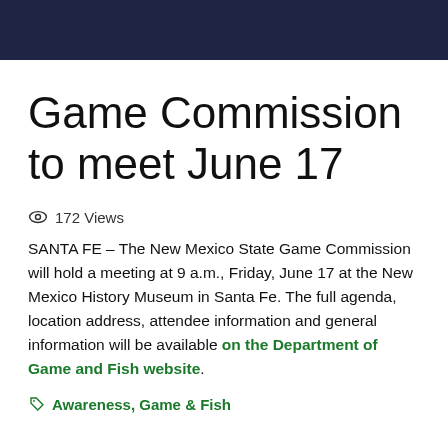Game Commission to meet June 17
172 Views
SANTA FE – The New Mexico State Game Commission will hold a meeting at 9 a.m., Friday, June 17 at the New Mexico History Museum in Santa Fe. The full agenda, location address, attendee information and general information will be available on the Department of Game and Fish website.
Awareness, Game & Fish